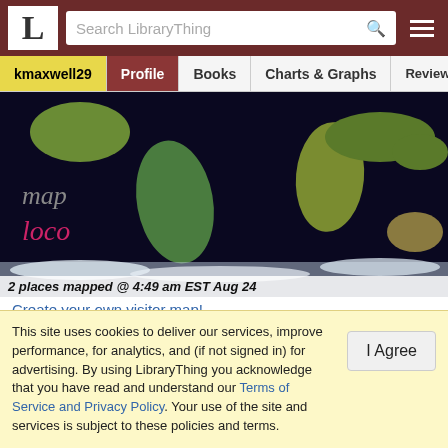L | Search LibraryThing
kmaxwell29 | Profile | Books | Charts & Graphs | Reviews
[Figure (map): World satellite map with continents visible. Text overlay reads 'map logo' in stylized text. Bottom bar text: '2 places mapped @ 4:49 am EST Aug 24']
Create your own visitor map!
Location
Cambridge, MA
This site uses cookies to deliver our services, improve performance, for analytics, and (if not signed in) for advertising. By using LibraryThing you acknowledge that you have read and understand our Terms of Service and Privacy Policy. Your use of the site and services is subject to these policies and terms.